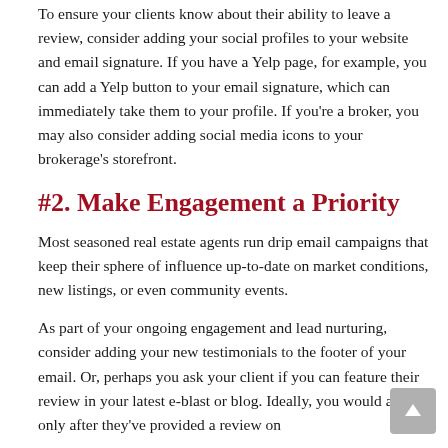To ensure your clients know about their ability to leave a review, consider adding your social profiles to your website and email signature. If you have a Yelp page, for example, you can add a Yelp button to your email signature, which can immediately take them to your profile. If you're a broker, you may also consider adding social media icons to your brokerage's storefront.
#2. Make Engagement a Priority
Most seasoned real estate agents run drip email campaigns that keep their sphere of influence up-to-date on market conditions, new listings, or even community events.
As part of your ongoing engagement and lead nurturing, consider adding your new testimonials to the footer of your email. Or, perhaps you ask your client if you can feature their review in your latest e-blast or blog. Ideally, you would ask only after they've provided a review on